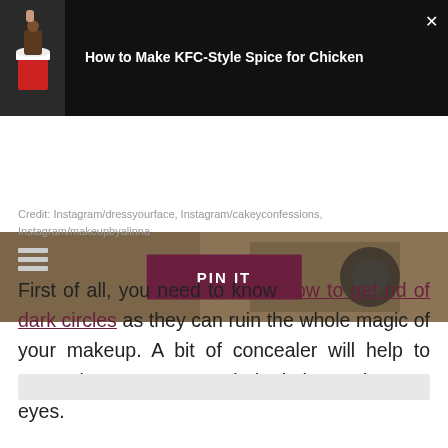[Figure (screenshot): Video thumbnail showing KFC bucket of chicken with a dark background and title text 'How to Make KFC-Style Spice for Chicken']
[Figure (photo): Background photo of hair/makeup with a dark PIN IT button overlay]
Credit: Instagram/dressyourface, Instagram/cakeyconfessions, Instagram/makeupbyalinna
First of all, you need to know how to get rid of dark circles as they can ruin the whole magic of your makeup. A bit of concealer will help to erase the unnecessary dark circles under your eyes.